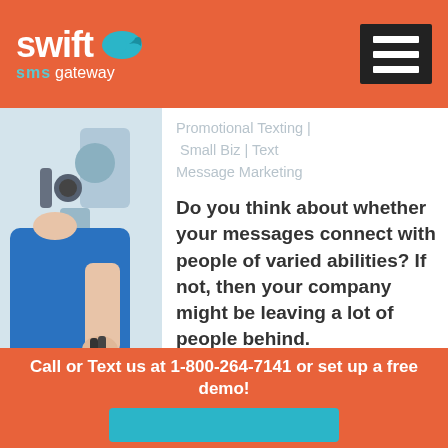Swift SMS Gateway
[Figure (photo): Person in blue shirt working with optometry/medical equipment, close-up view]
Promotional Texting | Small Biz | Text Message Marketing
Do you think about whether your messages connect with people of varied abilities? If not, then your company might be leaving a lot of people behind.
Call or Text us at 1-800-264-7141 or set up a free demo!